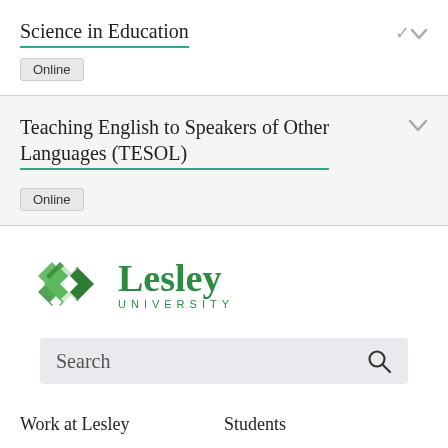Science in Education
Online
Teaching English to Speakers of Other Languages (TESOL)
Online
[Figure (logo): Lesley University logo with green diamond icon and 'Lesley UNIVERSITY' text in green]
Search
Work at Lesley   Students